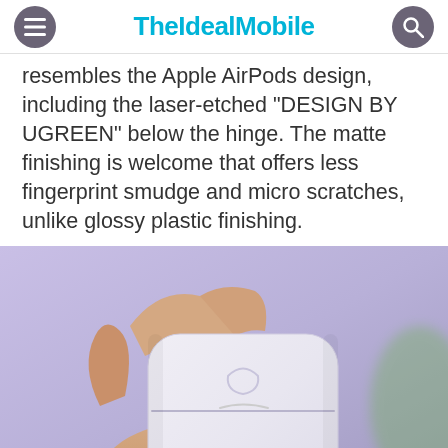TheIdealMobile
resembles the Apple AirPods design, including the laser-etched “DESIGN BY UGREEN” below the hinge. The matte finishing is welcome that offers less fingerprint smudge and micro scratches, unlike glossy plastic finishing.
[Figure (photo): A hand holding a white matte earbuds charging case against a purple/lavender background, resembling AirPods case design.]